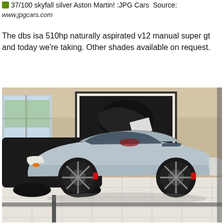37/100 skyfall silver Aston Martin! :JPG Cars Source:
www.jpgcars.com
The dbs isa 510hp naturally aspirated v12 manual super gt and today we're taking. Other shades available on request.
[Figure (photo): A silver Aston Martin DBS sports car on display inside a car dealership showroom. The car is on a tiled floor with other dark-colored vehicles visible in the background, along with a large framed artwork on the wall.]